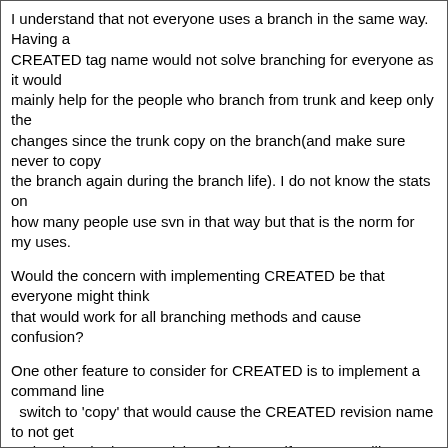I understand that not everyone uses a branch in the same way. Having a CREATED tag name would not solve branching for everyone as it would mainly help for the people who branch from trunk and keep only the changes since the trunk copy on the branch(and make sure never to copy the branch again during the branch life). I do not know the stats on how many people use svn in that way but that is the norm for my uses.
Would the concern with implementing CREATED be that everyone might think that would work for all branching methods and cause confusion?
One other feature to consider for CREATED is to implement a command line   switch to 'copy' that would cause the CREATED revision name to not get updated to the latest revision of the copy if a commandline switch was